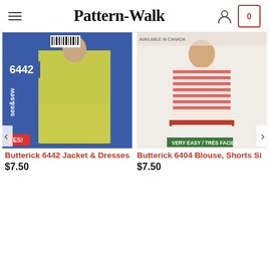Pattern-Walk
[Figure (photo): Butterick 6442 sewing pattern cover showing a model in a yellow-green jacket and skirt suit, See & Sew brand]
Butterick 6442 Jacket & Dresses
$7.50
[Figure (photo): Butterick 6404 sewing pattern cover showing a model in a red and white striped blouse with white shorts, VERY EASY label visible]
Butterick 6404 Blouse, Shorts Si
$7.50